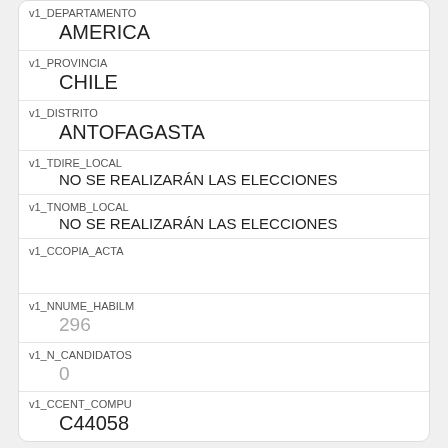v1_DEPARTAMENTO
AMERICA
v1_PROVINCIA
CHILE
v1_DISTRITO
ANTOFAGASTA
v1_TDIRE_LOCAL
NO SE REALIZARÁN LAS ELECCIONES
v1_TNOMB_LOCAL
NO SE REALIZARÁN LAS ELECCIONES
v1_CCOPIA_ACTA
v1_NNUME_HABILM
296
v1_N_CANDIDATOS
0
v1_CCENT_COMPU
C44058
Link
80618